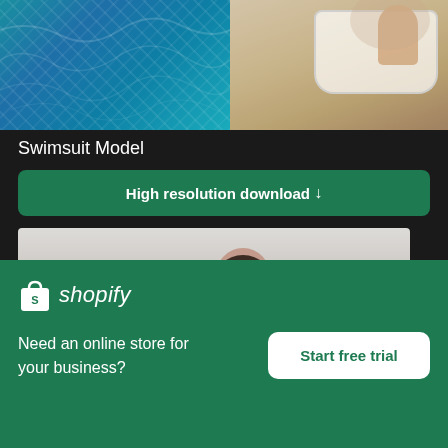[Figure (photo): Top split photo: left side shows blue swimming pool water texture, right side shows person's hand near a white bathtub on sandy/beige surface]
Swimsuit Model
High resolution download ↓
[Figure (photo): Person with wet dark hair smiling, wearing wet pinkish clothing, appearing to spray water, against light background]
×
[Figure (logo): Shopify logo - white shopping bag icon followed by italic 'shopify' text in white]
Need an online store for your business?
Start free trial